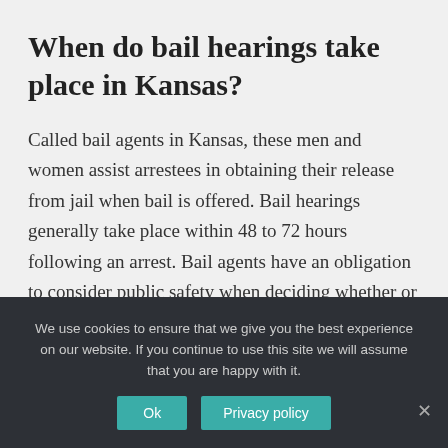When do bail hearings take place in Kansas?
Called bail agents in Kansas, these men and women assist arrestees in obtaining their release from jail when bail is offered. Bail hearings generally take place within 48 to 72 hours following an arrest. Bail agents have an obligation to consider public safety when deciding whether or not to help free a defendant.
We use cookies to ensure that we give you the best experience on our website. If you continue to use this site we will assume that you are happy with it.